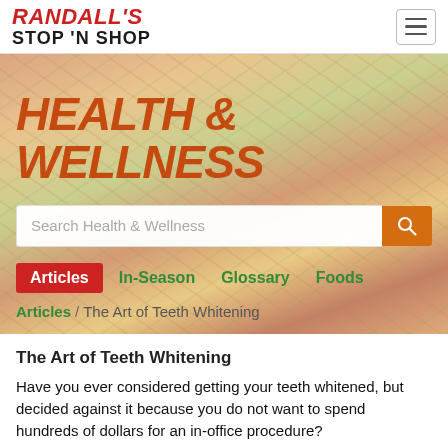RANDALL'S STOP 'N SHOP
HEALTH & WELLNESS
Search Health & Wellness
Articles  In-Season  Glossary  Foods
Articles / The Art of Teeth Whitening
The Art of Teeth Whitening
Have you ever considered getting your teeth whitened, but decided against it because you do not want to spend hundreds of dollars for an in-office procedure?